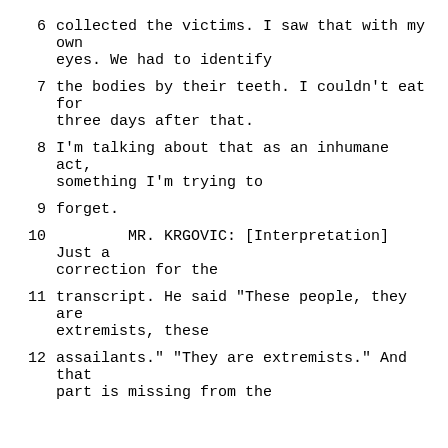6    collected the victims.  I saw that with my own eyes.  We had to identify
7    the bodies by their teeth.  I couldn't eat for three days after that.
8    I'm talking about that as an inhumane act, something I'm trying to
9    forget.
10        MR. KRGOVIC: [Interpretation] Just a correction for the
11    transcript.  He said "These people, they are extremists, these
12    assailants."  "They are extremists."  And that part is missing from the